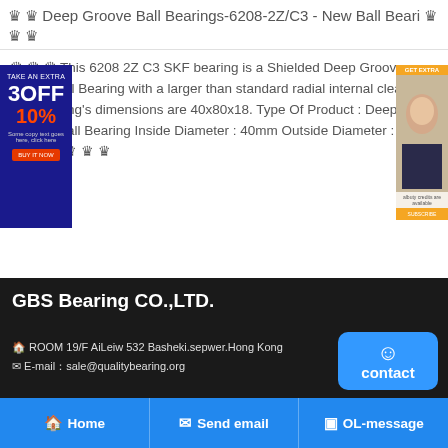♛ ♛ Deep Groove Ball Bearings-6208-2Z/C3 - New Ball Beari ♛ ♛ ♛
♛ ♛ ♛ This 6208 2Z C3 SKF bearing is a Shielded Deep Groove Radial Ball Bearing with a larger than standard radial internal clearance The bearing's dimensions are 40x80x18. Type Of Product : Deep Groove Ball Bearing Inside Diameter : 40mm Outside Diameter : 80mm ♛ ♛ ♛ ♛
[Figure (advertisement): Left ad banner: blue background, '3OFF 10%' text in white/red]
[Figure (advertisement): Right ad banner: orange and beige tones, woman photo]
[Figure (other): Collapse/chevron up arrow bar]
GBS Bearing CO.,LTD.
🏠 ROOM 19/F AiLeiw 532 Basheki.sepwer.Hong Kong
✉ E-mail：sale@qualitybearing.org
[Figure (other): Blue contact button with smiley icon]
🏠 Home   ✉ Send email   💬 OL-message